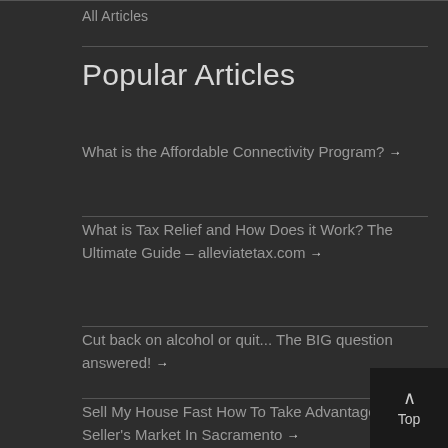All Articles
Popular Articles
What is the Affordable Connectivity Program? →
What is Tax Relief and How Does it Work? The Ultimate Guide – alleviatetax.com →
Cut back on alcohol or quit... The BIG question answered! →
Sell My House Fast How To Take Advantage of A Seller's Market In Sacramento →